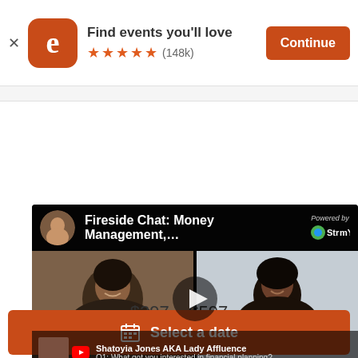[Figure (screenshot): Eventbrite app banner with logo, 'Find events you'll love', 5 stars (148k), and Continue button]
[Figure (screenshot): Video thumbnail: Fireside Chat Money Management with two participants, play button, StreamYard branding, overlay text showing Shatoyia Jones AKA Lady Affluence Q1, schedule bar]
$397 – $597
Select a date